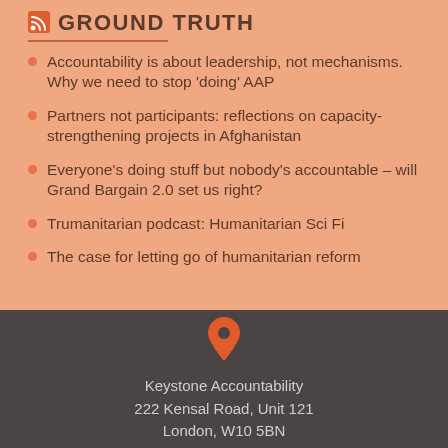GROUND TRUTH
Accountability is about leadership, not mechanisms. Why we need to stop 'doing' AAP
Partners not participants: reflections on capacity-strengthening projects in Afghanistan
Everyone's doing stuff but nobody's accountable – will Grand Bargain 2.0 set us right?
Trumanitarian podcast: Humanitarian Sci Fi
The case for letting go of humanitarian reform
Keystone Accountability
222 Kensal Road, Unit 121
London, W10 5BN